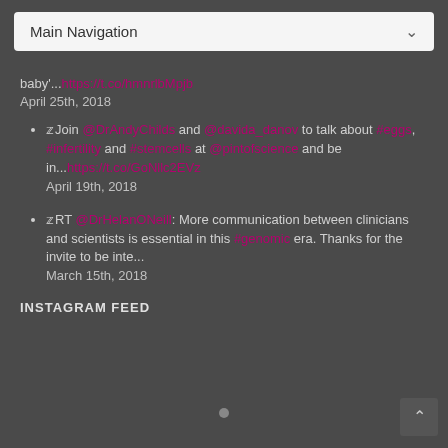Main Navigation
baby'... https://t.co/hmnrlbMpjb
April 25th, 2018
Join @DrAndyChilds and @davida_danov to talk about #eggs, #infertility and #stemcells at @pintofscience and be in... https://t.co/GoNllc2EVz
April 19th, 2018
RT @DrHelanONeill: More communication between clinicians and scientists is essential in this #genomic era. Thanks for the invite to be inte...
March 15th, 2018
INSTAGRAM FEED